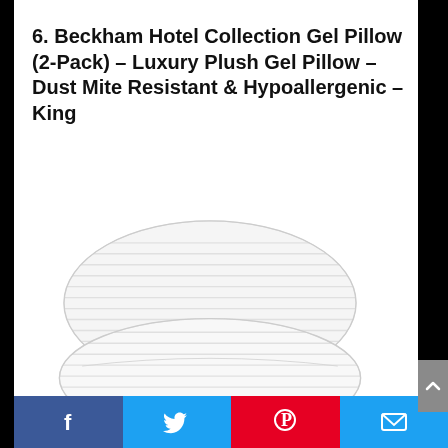6. Beckham Hotel Collection Gel Pillow (2-Pack) – Luxury Plush Gel Pillow – Dust Mite Resistant & Hypoallergenic – King
[Figure (photo): Two white striped bed pillows stacked on top of each other, photographed against a white background.]
[Figure (other): Social sharing bar with Facebook, Twitter, Pinterest, and email icons at the bottom of the page.]